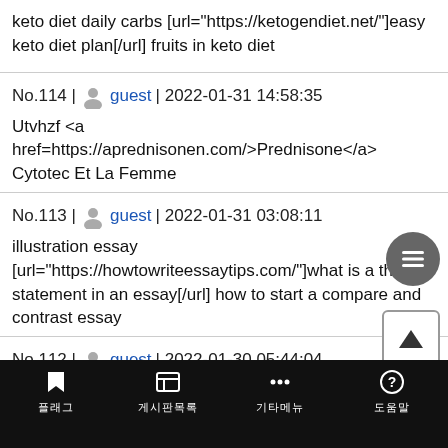keto diet daily carbs [url="https://ketogendiet.net/"]easy keto diet plan[/url] fruits in keto diet
No.114 | guest | 2022-01-31 14:58:35
Utvhzf <a href=https://aprednisonen.com/>Prednisone</a> Cytotec Et La Femme
No.113 | guest | 2022-01-31 03:08:11
illustration essay [url="https://howtowriteessaytips.com/"]what is a thesis statement in an essay[/url] how to start a compare and contrast essay
No.112 | guest | 2022-01-30 05:44:04
free one on one gay sex chat on camera for masterbation [url
플래그 | 게시판목록 | 기타메뉴 | 도움말